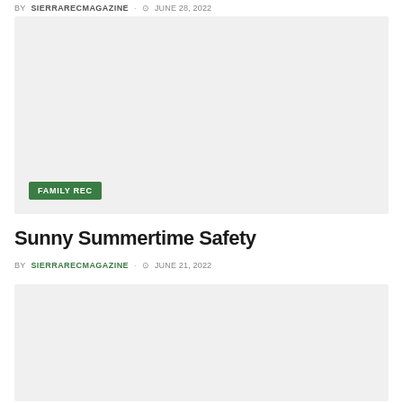BY SIERRARECMAGAZINE · JUNE 28, 2022
[Figure (photo): Large light gray placeholder image with FAMILY REC green badge in lower-left corner]
Sunny Summertime Safety
BY SIERRARECMAGAZINE · JUNE 21, 2022
[Figure (photo): Large light gray placeholder image at bottom of page]